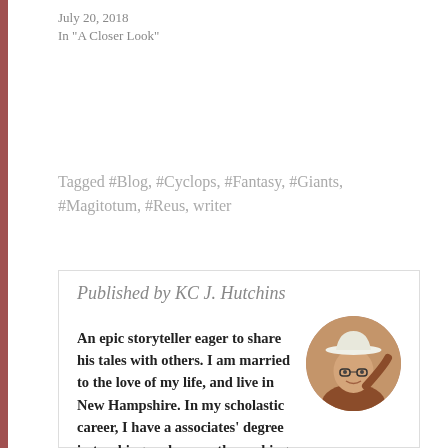July 20, 2018
In "A Closer Look"
Tagged #Blog, #Cyclops, #Fantasy, #Giants, #Magitotum, #Reus, writer
Published by KC J. Hutchins
An epic storyteller eager to share his tales with others. I am married to the love of my life, and live in New Hampshire. In my scholastic career, I have a associates' degree in teaching and currently working at a grocery store, though I hope that is about to change. My dream is to become a published writer and
[Figure (photo): Circular portrait photo of KC J. Hutchins wearing a white cowboy hat and orange/brown jacket]